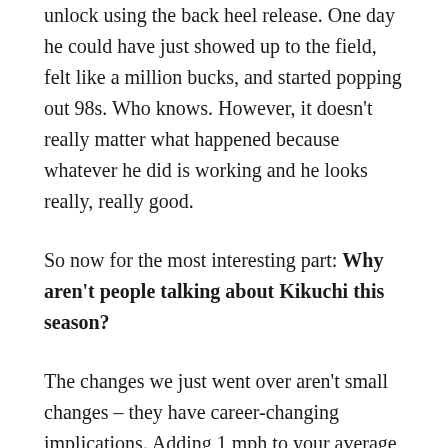unlock using the back heel release. One day he could have just showed up to the field, felt like a million bucks, and started popping out 98s. Who knows. However, it doesn't really matter what happened because whatever he did is working and he looks really, really good.
So now for the most interesting part: Why aren't people talking about Kikuchi this season?
The changes we just went over aren't small changes – they have career-changing implications. Adding 1 mph to your average fastball is a big deal, let along 2.7 mph.